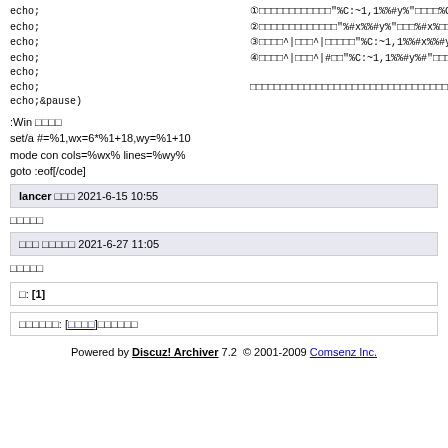echo; ①□□□□□□□□□□□□"%C:~1,1%%#y%"□□□□%C:~1,1%□□%#y%□□
echo; ②□□□□□□□□□□□□□"%#x%%#y%"□□□%#x%□□□□□□□□%#y%□□
echo; ③□□□□^|□□□^|□□□□□"%C:~1,1%%#x%%#y%"□□□%#x%□□□□□%C:~1,1%□□%#y%□□□
echo; ④□□□□^|□□□^|#□□"%C:~1,1%%#y%#"□□□□□%C:~1,1%□□□□%#y%□□□□□□□□□□
echo;
echo; □□□□□□□□□□□□□□□□□□□□□□□□□□□□□□□□□
echo;&pause)
:Win □□□□
set/a #=%1,wx=6*%1+18,wy=%1+10
mode con cols=%wx% lines=%wy%
goto :eof[/code]
lancer □□□ 2021-6-15 10:55
□□□□□
□□□ □□□□□ 2021-6-27 11:05
□□□□□
□: [1]
□□□□□□: [□□□□]□□□□□□□
Powered by Discuz! Archiver 7.2 © 2001-2009 Comsenz Inc.